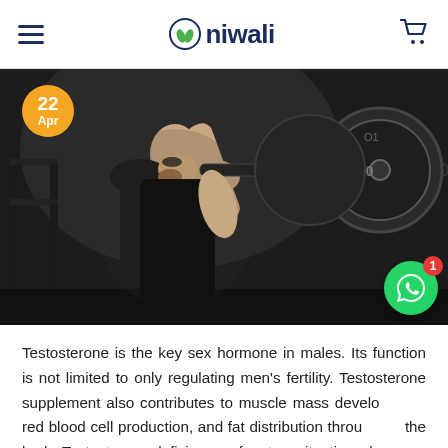niwali
[Figure (photo): A muscular man in a black sleeveless shirt performing a barbell squat or bench press in a dark gym, with large weight plates visible in the foreground. A date badge reading '22 Apr' in orange is overlaid at the top left.]
Testosterone is the key sex hormone in males. Its function is not limited to only regulating men's fertility. Testosterone supplement also contributes to muscle mass development, red blood cell production, and fat distribution throughout the body. Testosterone deficiency refers to a situation when